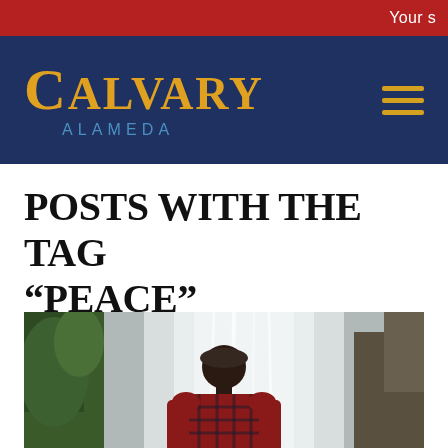Your s
[Figure (logo): Calvary Alameda church logo with orange/gold serif text 'CALVARY' and teal subtitle 'ALAMEDA' on navy background, with hamburger menu icon]
POSTS WITH THE TAG “PEACE”
[Figure (photo): Man in red and black plaid flannel shirt viewed from behind, standing in front of a large waterfall with green foliage on the sides]